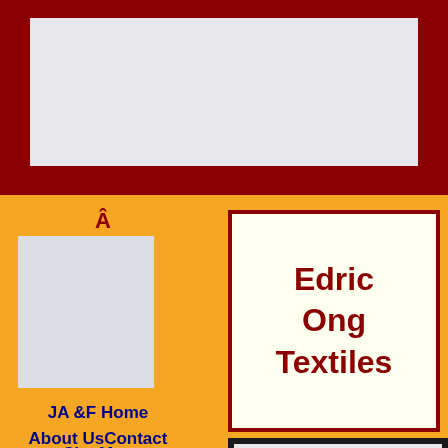[Figure (other): Top dark red banner with light gray rectangle inside]
Â
[Figure (other): Small light gray image placeholder on left side]
Edric Ong Textiles
JA &F Home
About Us
Contact Us
Site Map
[Figure (other): Bottom partially visible box with dark border and light gray interior]